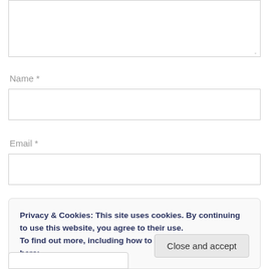[Figure (screenshot): Textarea input box (top of page, partially visible)]
Name *
[Figure (screenshot): Name text input field]
Email *
[Figure (screenshot): Email text input field]
Privacy & Cookies: This site uses cookies. By continuing to use this website, you agree to their use.
To find out more, including how to control cookies, see here: Cookie Policy
Close and accept